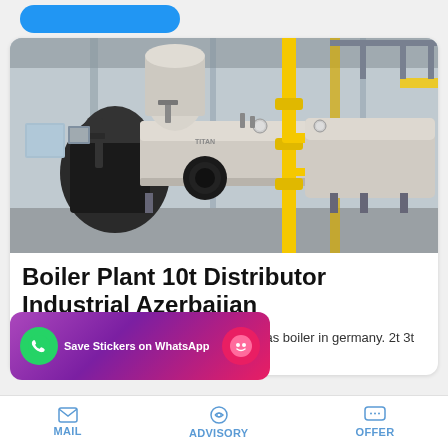[Figure (photo): Industrial boiler plant installation showing large horizontal steam/hot-water boilers with burners, yellow gas pipes, and supporting structure inside an industrial building.]
Boiler Plant 10t Distributor Industrial Azerbaijan
... Gas Fired Boiler Brand Azerbaijan. ng gas boiler in germany. 2t 3t 4t
[Figure (screenshot): WhatsApp sticker save popup overlay with purple/pink gradient background, green WhatsApp phone icon, and pink emoji icon. Text: Save Stickers on WhatsApp]
MAIL   ADVISORY   OFFER